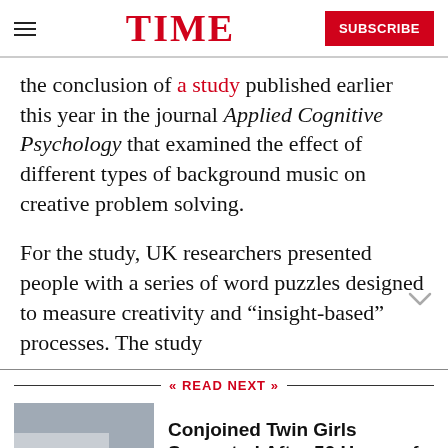TIME
the conclusion of a study published earlier this year in the journal Applied Cognitive Psychology that examined the effect of different types of background music on creative problem solving.
For the study, UK researchers presented people with a series of word puzzles designed to measure creativity and “insight-based” processes. The study
READ NEXT
[Figure (photo): Photo of a hospital building with NHS sign visible and people walking in front]
Conjoined Twin Girls Separated After 50 Hours of Operations